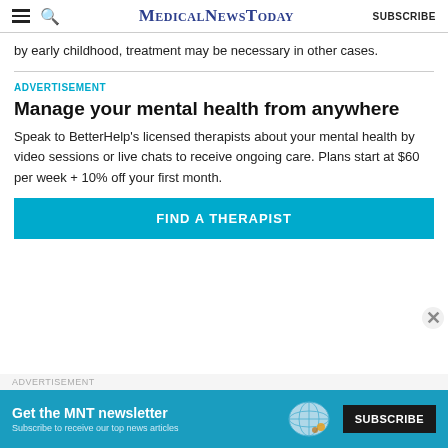MedicalNewsToday | SUBSCRIBE
by early childhood, treatment may be necessary in other cases.
ADVERTISEMENT
Manage your mental health from anywhere
Speak to BetterHelp's licensed therapists about your mental health by video sessions or live chats to receive ongoing care. Plans start at $60 per week + 10% off your first month.
FIND A THERAPIST
ADVERTISEMENT
Get the MNT newsletter — Subscribe to receive our top news articles. SUBSCRIBE